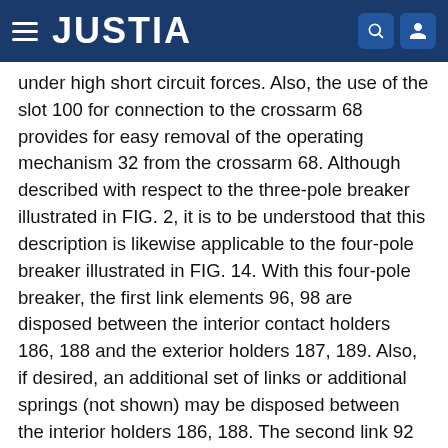JUSTIA
under high short circuit forces. Also, the use of the slot 100 for connection to the crossarm 68 provides for easy removal of the operating mechanism 32 from the crossarm 68. Although described with respect to the three-pole breaker illustrated in FIG. 2, it is to be understood that this description is likewise applicable to the four-pole breaker illustrated in FIG. 14. With this four-pole breaker, the first link elements 96, 98 are disposed between the interior contact holders 186, 188 and the exterior holders 187, 189. Also, if desired, an additional set of links or additional springs (not shown) may be disposed between the interior holders 186, 188. The second link 92 comprises a pair of spaced-apart second link elements 102, 104 which are pivotally connected to the first link elements 96, 98, respectively at pivot point 103. The toggle lever 94 is comprised of a pair of spaced-apart toggle lever elements 106, 108